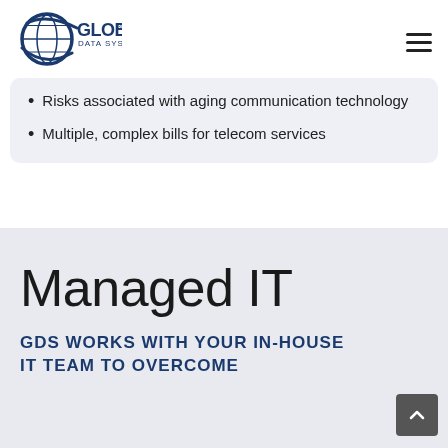[Figure (logo): Global Data Systems logo with globe icon and company name]
Risks associated with aging communication technology
Multiple, complex bills for telecom services
Managed IT
GDS WORKS WITH YOUR IN-HOUSE IT TEAM TO OVERCOME